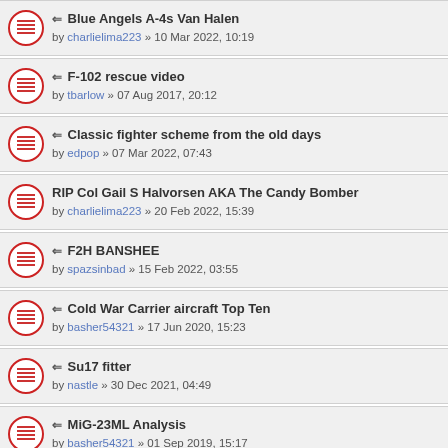Blue Angels A-4s Van Halen by charlielima223 » 10 Mar 2022, 10:19
F-102 rescue video by tbarlow » 07 Aug 2017, 20:12
Classic fighter scheme from the old days by edpop » 07 Mar 2022, 07:43
RIP Col Gail S Halvorsen AKA The Candy Bomber by charlielima223 » 20 Feb 2022, 15:39
F2H BANSHEE by spazsinbad » 15 Feb 2022, 03:55
Cold War Carrier aircraft Top Ten by basher54321 » 17 Jun 2020, 15:23
Su17 fitter by nastle » 30 Dec 2021, 04:49
MiG-23ML Analysis by basher54321 » 01 Sep 2019, 15:17
Rafale Vs EF Typhoon by oldiaf » 14 Sep 2015, 10:19
F-14 design evolution